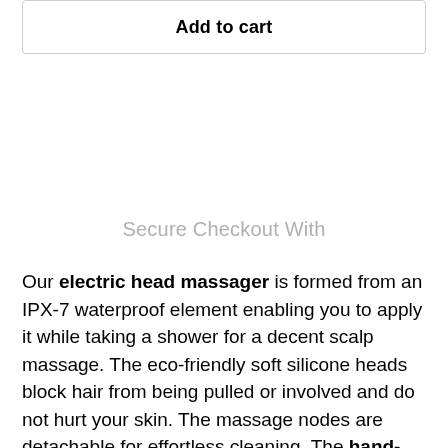Add to cart
Secure Checkout With
Our electric head massager is formed from an IPX-7 waterproof element enabling you to apply it while taking a shower for a decent scalp massage. The eco-friendly soft silicone heads block hair from being pulled or involved and do not hurt your skin. The massage nodes are detachable for effortless cleaning. The hand-held head massager has 4-mode shades for options. You can choose the low